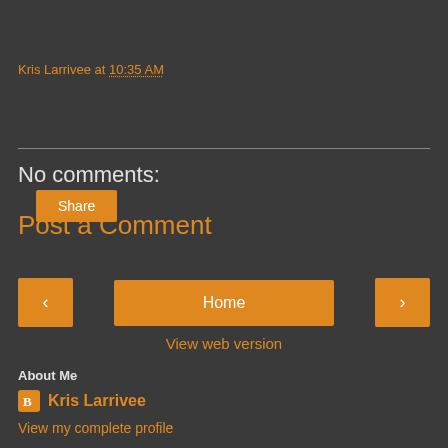Kris Larrivee at 10:35 AM
Share
No comments:
Post a Comment
< Home >
View web version
About Me
Kris Larrivee
View my complete profile
Powered by Blogger.